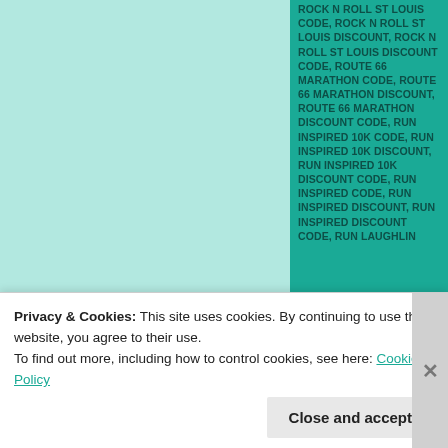[Figure (other): Left mint/teal colored panel background]
ROCK N ROLL ST LOUIS CODE, ROCK N ROLL ST LOUIS DISCOUNT, ROCK N ROLL ST LOUIS DISCOUNT CODE, ROUTE 66 MARATHON CODE, ROUTE 66 MARATHON DISCOUNT, ROUTE 66 MARATHON DISCOUNT CODE, RUN INSPIRED 10K CODE, RUN INSPIRED 10K DISCOUNT, RUN INSPIRED 10K DISCOUNT CODE, RUN INSPIRED CODE, RUN INSPIRED DISCOUNT, RUN INSPIRED DISCOUNT CODE, RUN LAUGHLIN
Privacy & Cookies: This site uses cookies. By continuing to use this website, you agree to their use.
To find out more, including how to control cookies, see here: Cookie Policy